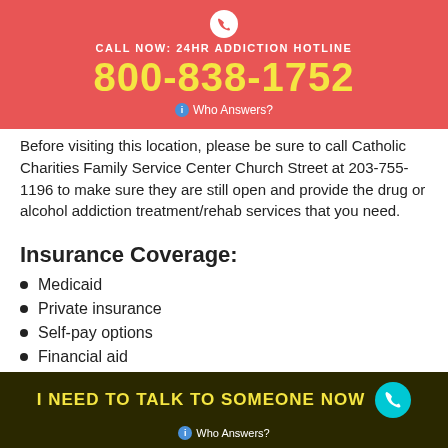CALL NOW: 24HR ADDICTION HOTLINE
800-838-1752
Who Answers?
Before visiting this location, please be sure to call Catholic Charities Family Service Center Church Street at 203-755-1196 to make sure they are still open and provide the drug or alcohol addiction treatment/rehab services that you need.
Insurance Coverage:
Medicaid
Private insurance
Self-pay options
Financial aid
I NEED TO TALK TO SOMEONE NOW
Who Answers?